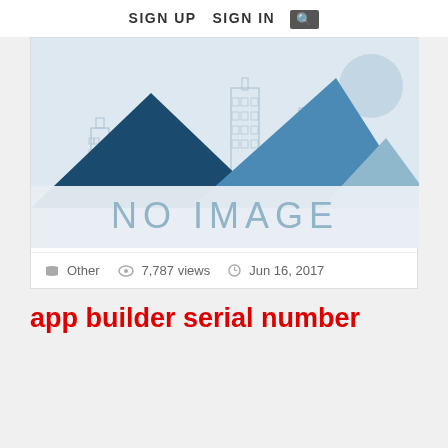SIGN UP   SIGN IN  🔍
[Figure (illustration): No image placeholder with mountain silhouettes and city skyline in blue tones, with 'NO IMAGE' text]
Other   7,787 views   Jun 16, 2017
app builder serial number